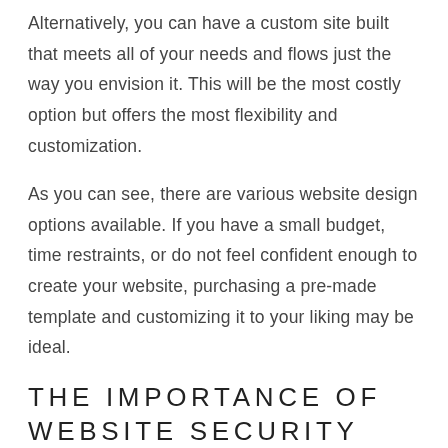Alternatively, you can have a custom site built that meets all of your needs and flows just the way you envision it. This will be the most costly option but offers the most flexibility and customization.
As you can see, there are various website design options available. If you have a small budget, time restraints, or do not feel confident enough to create your website, purchasing a pre-made template and customizing it to your liking may be ideal.
THE IMPORTANCE OF WEBSITE SECURITY
People are more concerned than ever about online